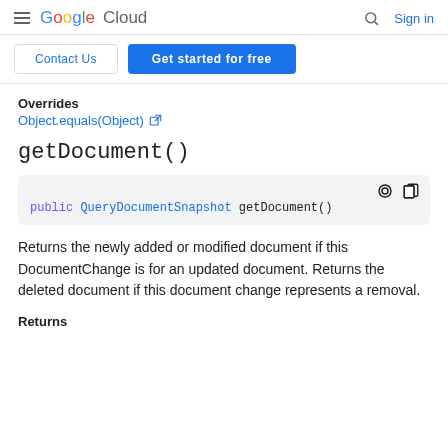Google Cloud | Sign in
Contact Us | Get started for free
Overrides
Object.equals(Object)
getDocument()
public QueryDocumentSnapshot getDocument()
Returns the newly added or modified document if this DocumentChange is for an updated document. Returns the deleted document if this document change represents a removal.
Returns